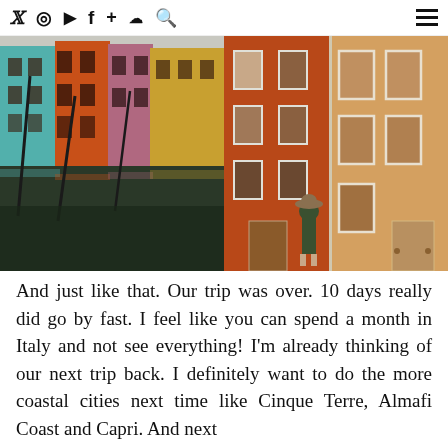Social media icons: Twitter, Instagram, YouTube, Facebook, Plus, SoundCloud, Search | Hamburger menu
[Figure (photo): Left photo: Colorful buildings along a canal in Burano, Italy, with teal, orange, and red facades reflected in the water. Dark wooden poles stand in the canal. Right photo: A woman in a hat and green outfit stands in front of terracotta-colored buildings with white-framed windows in Burano, Italy.]
And just like that. Our trip was over. 10 days really did go by fast. I feel like you can spend a month in Italy and not see everything! I'm already thinking of our next trip back. I definitely want to do the more coastal cities next time like Cinque Terre, Almafi Coast and Capri. And next